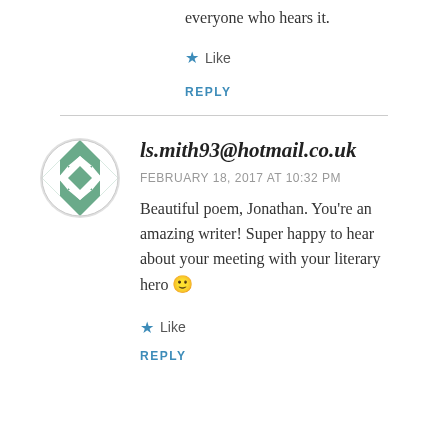everyone who hears it.
★ Like
REPLY
ls.mith93@hotmail.co.uk
FEBRUARY 18, 2017 AT 10:32 PM
Beautiful poem, Jonathan. You're an amazing writer! Super happy to hear about your meeting with your literary hero 🙂
★ Like
REPLY